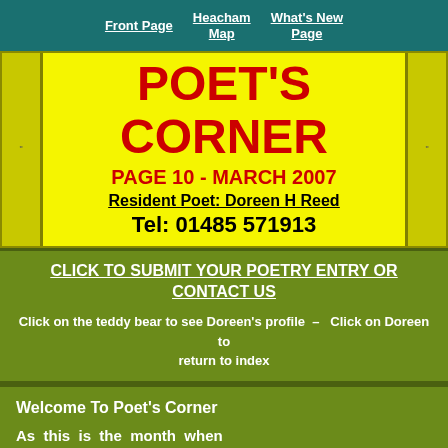Front Page | Heacham Map | What's New Page
POET'S CORNER
PAGE 10 - MARCH 2007
Resident Poet: Doreen H Reed
Tel: 01485 571913
CLICK TO SUBMIT YOUR POETRY ENTRY OR CONTACT US
Click on the teddy bear to see Doreen's profile – Click on Doreen to return to index
Welcome To Poet's Corner

As this is the month when
Mothers should be shown